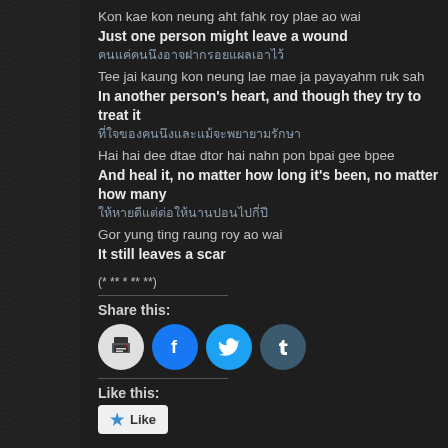Kon kae kon neung aht fahk roy plae ao wai
Just one person might leave a wound
คนแค่คนนึงอาจฝากรอยแผลเอาไว้
Tee jai kaung kon neung lae mae ja payayahm ruk sah
In another person's heart, and though they try to treat it
ที่ใจของคนนึงและแม้จะพยายามรักษา
Hai hai dee dtae dtor hai nahn pon bpai gee bpee
And heal it, no matter how long it's been, no matter how many
ให้หายดีแต่ต่อให้นานปอนไปกี่ปี
Gor yung ting raung roy ao wai
It still leaves a scar
(* ** * ** **)
Share this:
[Figure (infographic): Four circular social share buttons: print (grey), Facebook (blue), Twitter (light blue), Tumblr (dark blue-grey)]
Like this:
[Figure (infographic): Like button widget with blue star icon]